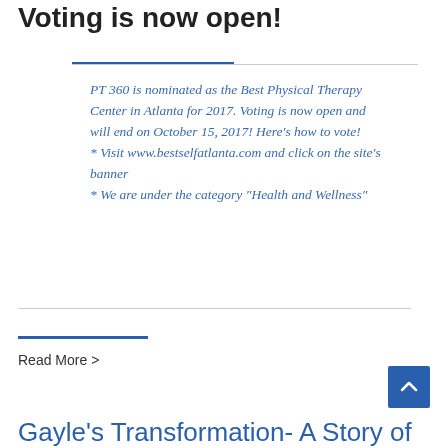Voting is now open!
PT 360 is nominated as the Best Physical Therapy Center in Atlanta for 2017. Voting is now open and will end on October 15, 2017! Here’s how to vote!
* Visit www.bestselfatlanta.com and click on the site’s banner
* We are under the category “Health and Wellness”
Read More >
Gayle’s Transformation- A Story of